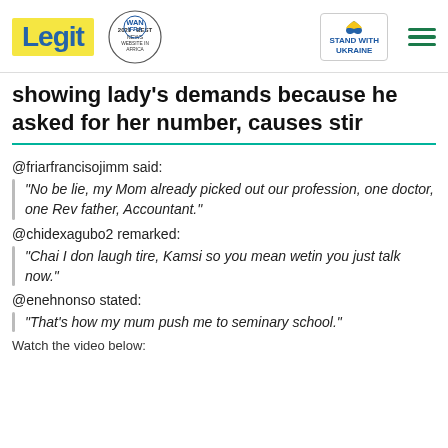Legit | WAN IFRA 2021 Best News Website in Africa | Stand with Ukraine
showing lady's demands because he asked for her number, causes stir
@friarfrancisojimm said:
"No be lie, my Mom already picked out our profession, one doctor, one Rev father, Accountant."
@chidexagubo2 remarked:
"Chai I don laugh tire, Kamsi so you mean wetin you just talk now."
@enehnonso stated:
"That's how my mum push me to seminary school."
Watch the video below: